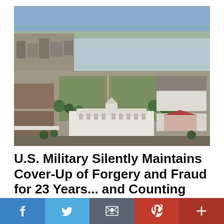[Figure (photo): Aerial photograph of a U.S. military installation showing large white buildings, parade grounds, barracks, and a river in the background]
U.S. Military Silently Maintains Cover-Up of Forgery and Fraud for 23 Years... and Counting